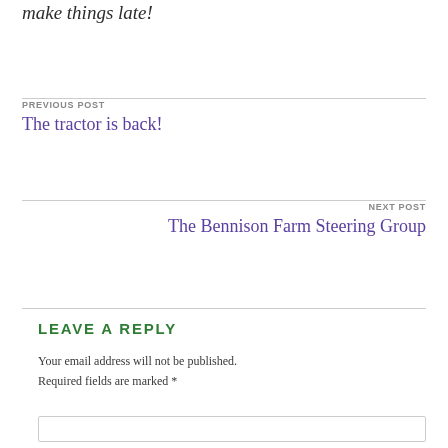make things late!
PREVIOUS POST
The tractor is back!
NEXT POST
The Bennison Farm Steering Group
LEAVE A REPLY
Your email address will not be published. Required fields are marked *